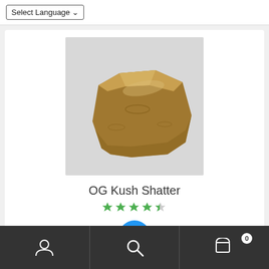Select Language
[Figure (photo): A flat slab of golden-brown OG Kush Shatter cannabis concentrate on a white background]
OG Kush Shatter
★★★★½ (4.5 star rating)
SALE!
Navigation bar with user icon, search icon, and cart icon showing 0 items